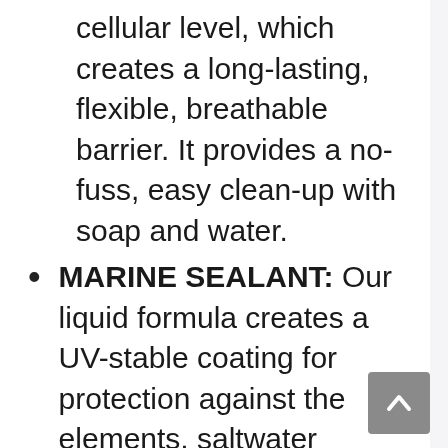cellular level, which creates a long-lasting, flexible, breathable barrier. It provides a no-fuss, easy clean-up with soap and water.
MARINE SEALANT: Our liquid formula creates a UV-stable coating for protection against the elements, saltwater spray, and water damage. Marine is a great protector for outdoor furniture, thermally modified wood, and boat docks.
SEAL-ONCE: Our user-friendly wood sealers and stains are an effective way to protect your